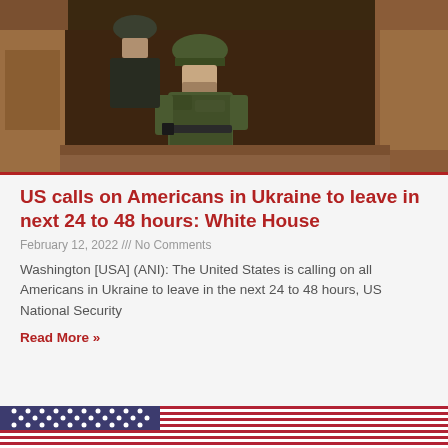[Figure (photo): Two soldiers in camouflage uniforms and helmets walking through a narrow trench with dirt walls]
US calls on Americans in Ukraine to leave in next 24 to 48 hours: White House
February 12, 2022 /// No Comments
Washington [USA] (ANI): The United States is calling on all Americans in Ukraine to leave in the next 24 to 48 hours, US National Security
Read More »
[Figure (photo): American flag with stars and stripes visible]